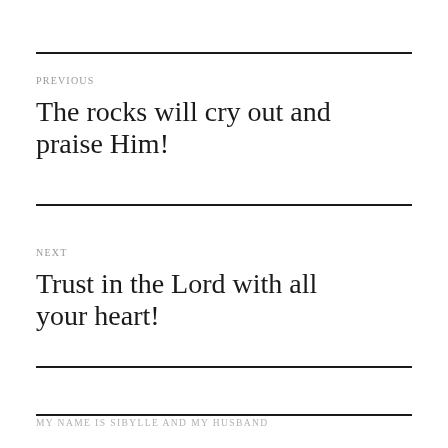PREVIOUS
The rocks will cry out and praise Him!
NEXT
Trust in the Lord with all your heart!
MY NAME IS SIBYLLE AND MY HUSBAND